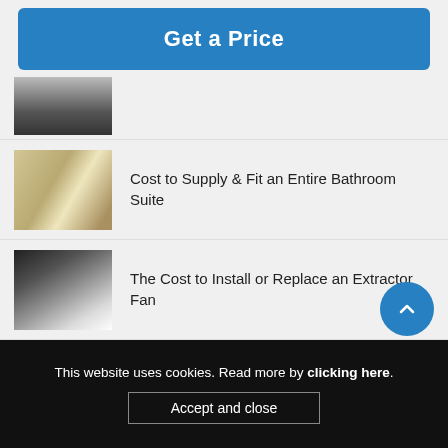Get a Price
[Figure (photo): Partial shower/bathroom photo (cut off at top)]
[Figure (photo): Bathroom suite with tub, toilet and marble walls]
Cost to Supply & Fit an Entire Bathroom Suite
[Figure (photo): Person installing or replacing an extractor fan in ceiling]
The Cost to Install or Replace an Extractor Fan
[Figure (photo): Heated towel radiator with towels]
The Cost to Fit a Heated Towel Radiator
This website uses cookies. Read more by clicking here.
Accept and close